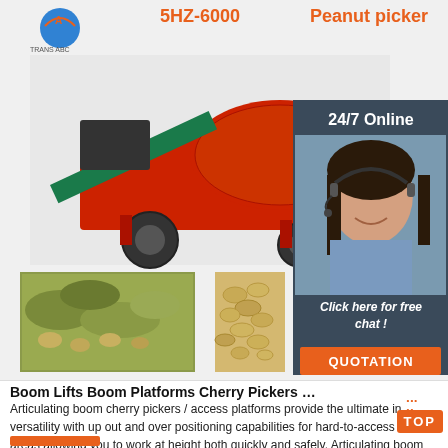[Figure (photo): Product listing page showing a red peanut picker machine (model 5HZ-6000) with a company logo in top left, a 24/7 online chat agent panel on the right side with a female agent photo, a 'Click here for free chat!' banner, a QUOTATION button, and two smaller photos of peanuts/crops at the bottom of the main image area.]
Boom Lifts Boom Platforms Cherry Pickers - W...
Articulating boom cherry pickers / access platforms provide the ultimate in versatility with up out and over positioning capabilities for hard-to-access work areas allowing you to work at height both quickly and safely. Articulating boom access platforms take you where you want to …